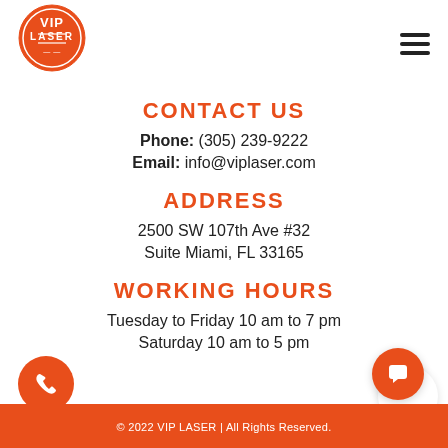[Figure (logo): VIP LASER orange circular logo with white text]
CONTACT US
Phone: (305) 239-9222
Email: info@viplaser.com
ADDRESS
2500 SW 107th Ave #32
Suite Miami, FL 33165
WORKING HOURS
Tuesday to Friday 10 am to 7 pm
Saturday 10 am to 5 pm
© 2022 VIP LASER | All Rights Reserved.